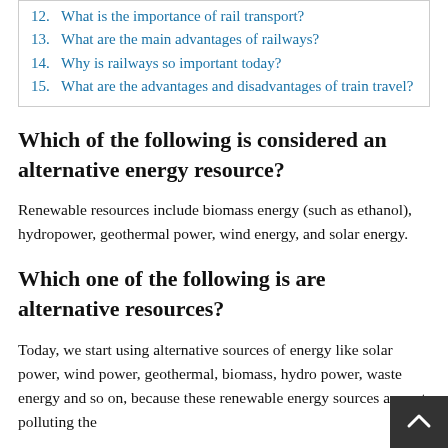12. What is the importance of rail transport?
13. What are the main advantages of railways?
14. Why is railways so important today?
15. What are the advantages and disadvantages of train travel?
Which of the following is considered an alternative energy resource?
Renewable resources include biomass energy (such as ethanol), hydropower, geothermal power, wind energy, and solar energy.
Which one of the following is are alternative resources?
Today, we start using alternative sources of energy like solar power, wind power, geothermal, biomass, hydro power, waste energy and so on, because these renewable energy sources are not polluting the